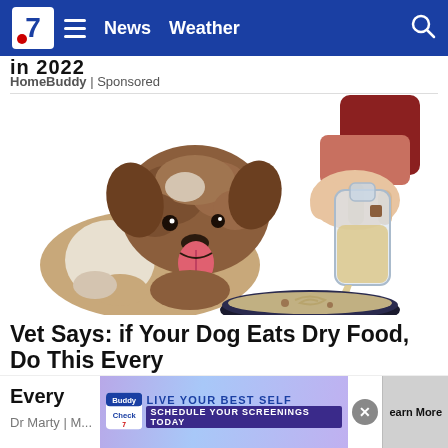7News | News  Weather
in 2022
HomeBuddy | Sponsored
[Figure (illustration): Illustration of a fluffy brown and white dog looking eagerly at a bowl while a hand pours liquid from a glass bottle into the bowl.]
Vet Says: if Your Dog Eats Dry Food, Do This Every
Dr Marty | M...
LIVE YOUR BEST SELF SCHEDULE YOUR SCREENINGS TODAY
earn More